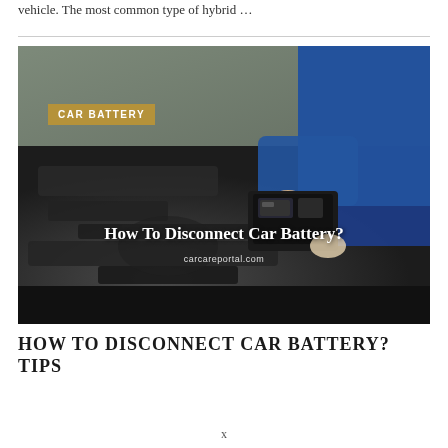vehicle. The most common type of hybrid …
[Figure (photo): A mechanic in a blue jacket disconnecting or handling a car battery under the hood of a vehicle. The image has an overlay text reading 'How To Disconnect Car Battery?' and a watermark 'carcareportal.com'. A golden tag in the top-left reads 'CAR BATTERY'.]
HOW TO DISCONNECT CAR BATTERY? TIPS